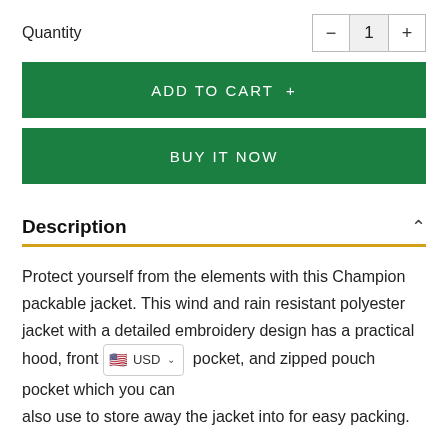Quantity
ADD TO CART +
BUY IT NOW
Description
Protect yourself from the elements with this Champion packable jacket. This wind and rain resistant polyester jacket with a detailed embroidery design has a practical hood, front pocket, and zipped pouch pocket which you can also use to store away the jacket into for easy packing.